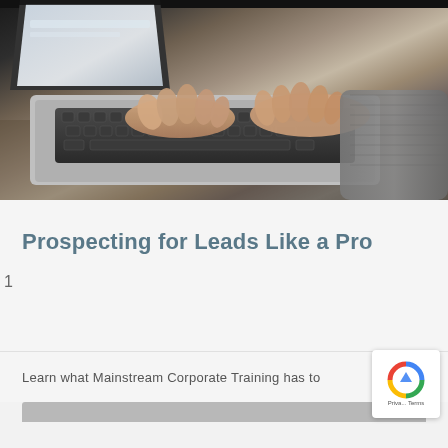[Figure (photo): Close-up photo of hands typing on a laptop keyboard, person wearing a grey sweater, taken from above at an angle]
Prospecting for Leads Like a Pro
1
Learn what Mainstream Corporate Training has to